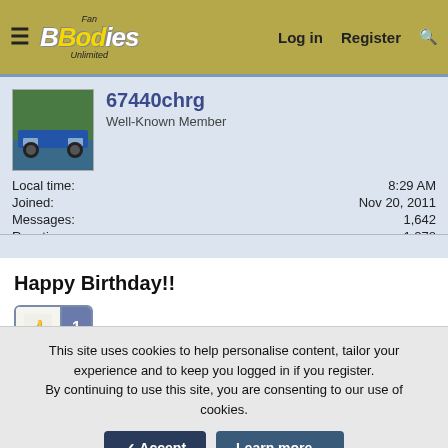Fan B Bodies Unlimited — Log in | Register | Search
67440chrg
Well-Known Member
Local time: 8:29 AM
Joined: Nov 20, 2011
Messages: 1,642
Reaction score: 1,278
Location: A free country
Happy Birthday!!
[Figure (other): Like/thumbs-up button with count of 1]
May 12, 2022  #12
VANDAN
This site uses cookies to help personalise content, tailor your experience and to keep you logged in if you register.
By continuing to use this site, you are consenting to our use of cookies.
Accept  Learn more...